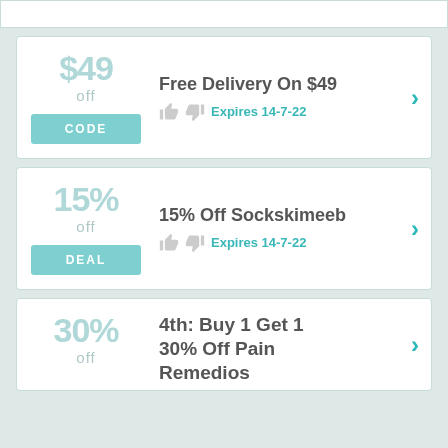[Figure (other): Coupon card: Free Delivery On $49, CODE button, Expires 14-7-22]
[Figure (other): Coupon card: 15% Off Sockskimeeb, DEAL button, Expires 14-7-22]
[Figure (other): Partial coupon card: 4th: Buy 1 Get 1 30% Off Pain Remedies (cut off)]